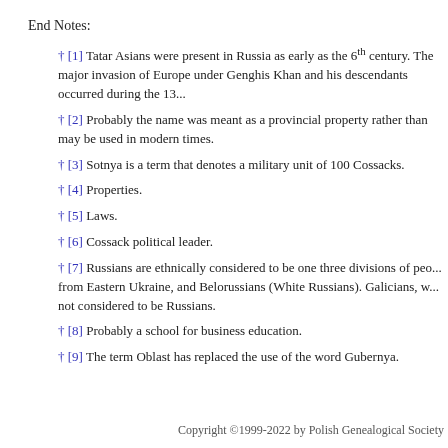End Notes:
† [1] Tatar Asians were present in Russia as early as the 6th century. The major invasion of Europe under Genghis Khan and his descendants occurred during the 13...
† [2] Probably the name was meant as a provincial property rather than ... may be used in modern times.
† [3] Sotnya is a term that denotes a military unit of 100 Cossacks.
† [4] Properties.
† [5] Laws.
† [6] Cossack political leader.
† [7] Russians are ethnically considered to be one three divisions of peo... from Eastern Ukraine, and Belorussians (White Russians). Galicians, w... not considered to be Russians.
† [8] Probably a school for business education.
† [9] The term Oblast has replaced the use of the word Gubernya.
Copyright ©1999-2022 by Polish Genealogical Society